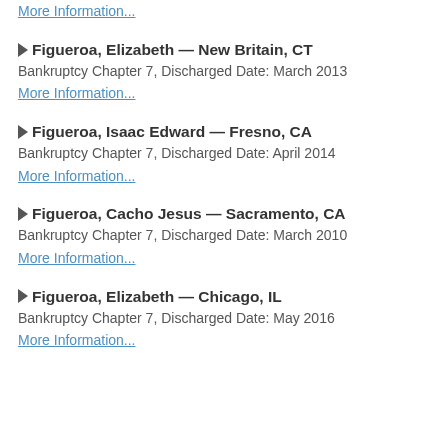More Information...
▶ Figueroa, Elizabeth — New Britain, CT
Bankruptcy Chapter 7, Discharged Date: March 2013
More Information...
▶ Figueroa, Isaac Edward — Fresno, CA
Bankruptcy Chapter 7, Discharged Date: April 2014
More Information...
▶ Figueroa, Cacho Jesus — Sacramento, CA
Bankruptcy Chapter 7, Discharged Date: March 2010
More Information...
▶ Figueroa, Elizabeth — Chicago, IL
Bankruptcy Chapter 7, Discharged Date: May 2016
More Information...